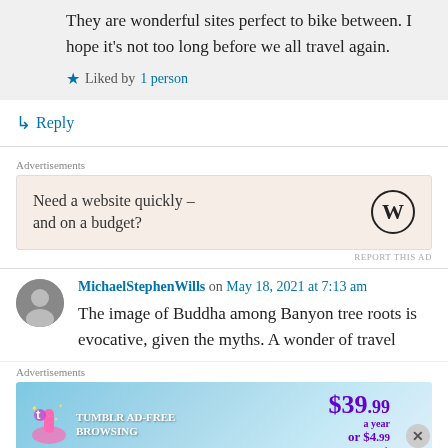They are wonderful sites perfect to bike between. I hope it's not too long before we all travel again.
Liked by 1 person
Reply
Advertisements
[Figure (infographic): WordPress advertisement: 'Need a website quickly – and on a budget?' with WordPress logo]
MichaelStephenWills on May 18, 2021 at 7:13 am
The image of Buddha among Banyon tree roots is evocative, given the myths. A wonder of travel
Advertisements
[Figure (infographic): Tumblr AD-FREE BROWSING advertisement: $39.99 a year or $4.99 a month]